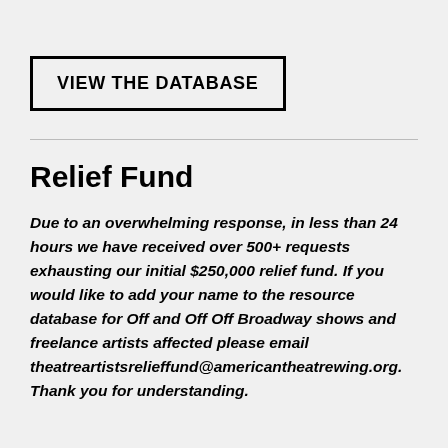VIEW THE DATABASE
Relief Fund
Due to an overwhelming response, in less than 24 hours we have received over 500+ requests exhausting our initial $250,000 relief fund. If you would like to add your name to the resource database for Off and Off Off Broadway shows and freelance artists affected please email theatreartistsrelieffund@americantheatrewing.org. Thank you for understanding.